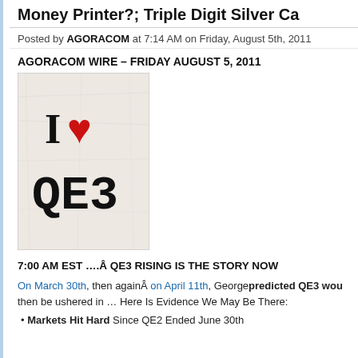Money Printer?; Triple Digit Silver Ca
Posted by AGORACOM at 7:14 AM on Friday, August 5th, 2011
AGORACOM WIRE – FRIDAY AUGUST 5, 2011
[Figure (illustration): Image of a crumpled white paper with text 'I [red heart] QE3' in large serif font]
7:00 AM EST ….Â QE3 RISING IS THE STORY NOW
On March 30th, then againÂ on April 11th, George predicted QE3 wou then be ushered in … Here Is Evidence We May Be There:
Markets Hit Hard Since QE2 Ended June 30th